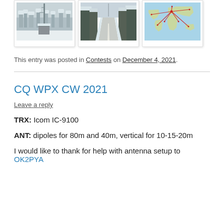[Figure (photo): Three photo thumbnails in polaroid-style frames: a snowy winter landscape with antenna masts, a snow-covered road through a forest, and a world map showing radio contact paths with red lines.]
This entry was posted in Contests on December 4, 2021.
CQ WPX CW 2021
Leave a reply
TRX: Icom IC-9100
ANT: dipoles for 80m and 40m, vertical for 10-15-20m
I would like to thank for help with antenna setup to OK2PYA